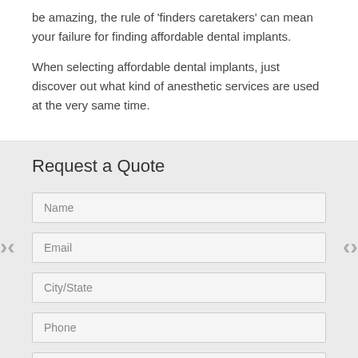be amazing, the rule of 'finders caretakers' can mean your failure for finding affordable dental implants.
When selecting affordable dental implants, just discover out what kind of anesthetic services are used at the very same time.
Request a Quote